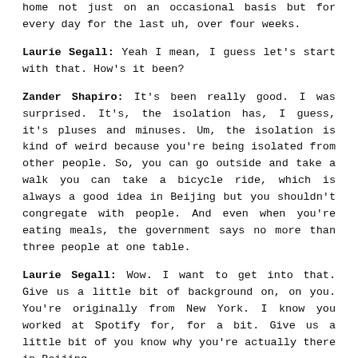home not just on an occasional basis but for every day for the last uh, over four weeks.
Laurie Segall: Yeah I mean, I guess let's start with that. How's it been?
Zander Shapiro: It's been really good. I was surprised. It's, the isolation has, I guess, it's pluses and minuses. Um, the isolation is kind of weird because you're being isolated from other people. So, you can go outside and take a walk you can take a bicycle ride, which is always a good idea in Beijing but you shouldn't congregate with people. And even when you're eating meals, the government says no more than three people at one table.
Laurie Segall: Wow. I want to get into that. Give us a little bit of background on, on you. You're originally from New York. I know you worked at Spotify for, for a bit. Give us a little bit of you know why you're actually there in Beijing.